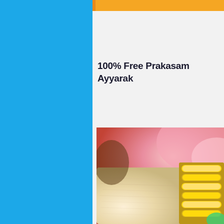[Figure (other): Blue sidebar background on the left portion of the page]
[Figure (other): Orange/amber colored header bar on the right panel]
100% Free Prakasam Ayyarak
[Figure (photo): Blurred close-up wedding photo showing a bride with gold bangles/jewelry, beige/cream fabric (possibly sari), and pink/red blurred background with floral elements]